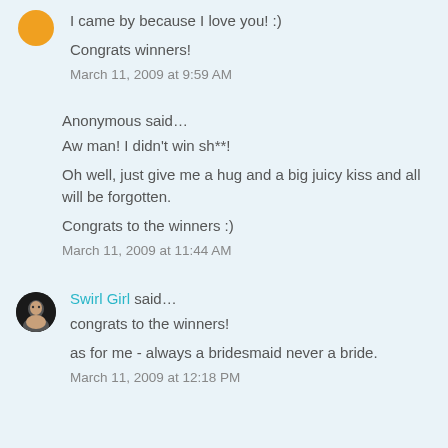I came by because I love you! :)
Congrats winners!
March 11, 2009 at 9:59 AM
Anonymous said...
Aw man! I didn't win sh**!
Oh well, just give me a hug and a big juicy kiss and all will be forgotten.
Congrats to the winners :)
March 11, 2009 at 11:44 AM
Swirl Girl said...
congrats to the winners!
as for me - always a bridesmaid never a bride.
March 11, 2009 at 12:18 PM